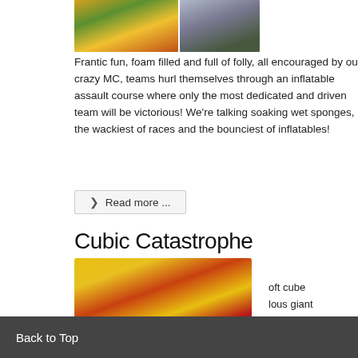[Figure (photo): Two photos side by side: inflatable assault course with children, and bubble football players on grass]
Frantic fun, foam filled and full of folly, all encouraged by our crazy MC, teams hurl themselves through an inflatable assault course where only the most dedicated and driven team will be victorious! We're talking soaking wet sponges, the wackiest of races and the bounciest of inflatables!
❯ Read more ...
Cubic Catastrophe
[Figure (photo): Large yellow and red inflatable tunnel tubes on grass]
Back to Top
oft cube
lous giant